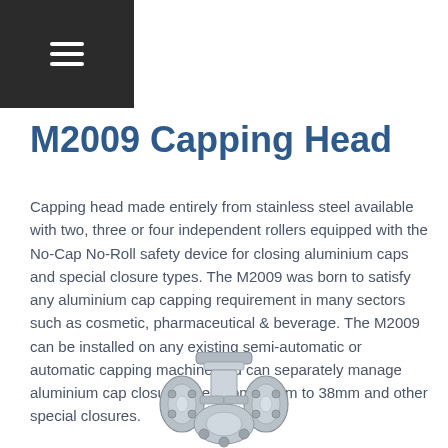≡
M2009 Capping Head
Capping head made entirely from stainless steel available with two, three or four independent rollers equipped with the No-Cap No-Roll safety device for closing aluminium caps and special closure types. The M2009 was born to satisfy any aluminium cap capping requirement in many sectors such as cosmetic, pharmaceutical & beverage. The M2009 can be installed on any existing semi-automatic or automatic capping machine and can separately manage aluminium cap closure sizes from 18mm to 38mm and other special closures.
[Figure (photo): Photo of the M2009 Capping Head – a stainless steel capping head mechanism showing multiple rollers and mechanical components, photographed from the front/below.]